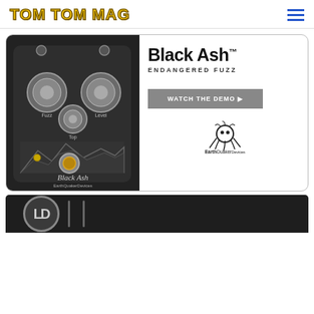TOM TOM MAG
[Figure (photo): Advertisement for EarthQuaker Devices Black Ash Endangered Fuzz guitar pedal. Left side shows a dark grey guitar pedal with three knobs labeled Fuzz, Top, and Level, a mountain engraving on the face, an LED, and a footswitch, with 'Black Ash' and 'EarthQuakerDevices' text. Right side shows the product name 'Black Ash™', subtitle 'ENDANGERED FUZZ', a grey button reading 'WATCH THE DEMO ▶', and the EarthQuaker Devices octopus logo with brand name.]
[Figure (photo): Partial view of another product advertisement visible at the bottom of the page, showing a dark background with what appears to be a circular logo with initials 'LD' or similar, and other equipment.]